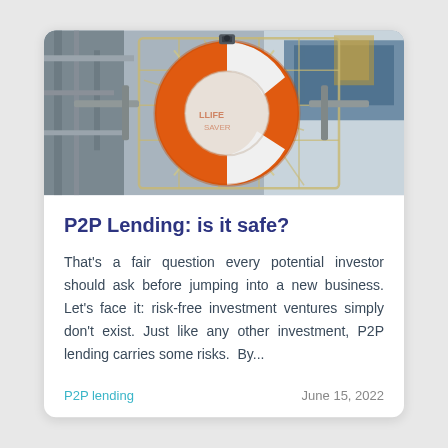[Figure (photo): Close-up photo of an orange life preserver / lifebuoy ring mounted on a white metal rack or cage, with ropes and nautical equipment visible in the background.]
P2P Lending: is it safe?
That's a fair question every potential investor should ask before jumping into a new business. Let's face it: risk-free investment ventures simply don't exist. Just like any other investment, P2P lending carries some risks.  By...
P2P lending
June 15, 2022